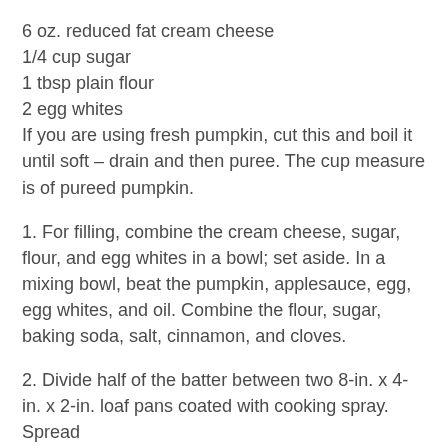6 oz. reduced fat cream cheese
1/4 cup sugar
1 tbsp plain flour
2 egg whites
If you are using fresh pumpkin, cut this and boil it until soft – drain and then puree. The cup measure is of pureed pumpkin.
1. For filling, combine the cream cheese, sugar, flour, and egg whites in a bowl; set aside. In a mixing bowl, beat the pumpkin, applesauce, egg, egg whites, and oil. Combine the flour, sugar, baking soda, salt, cinnamon, and cloves.
2. Divide half of the batter between two 8-in. x 4-in. x 2-in. loaf pans coated with cooking spray. Spread